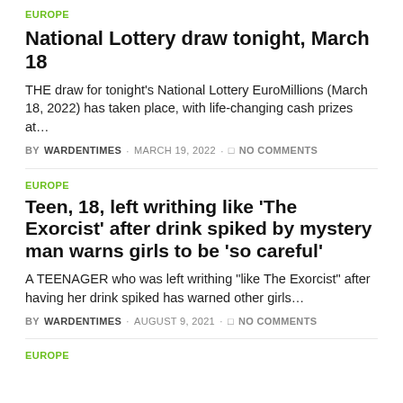EUROPE
National Lottery draw tonight, March 18
THE draw for tonight's National Lottery EuroMillions (March 18, 2022) has taken place, with life-changing cash prizes at…
BY WARDENTIMES · MARCH 19, 2022 · NO COMMENTS
EUROPE
Teen, 18, left writhing like 'The Exorcist' after drink spiked by mystery man warns girls to be 'so careful'
A TEENAGER who was left writhing "like The Exorcist" after having her drink spiked has warned other girls…
BY WARDENTIMES · AUGUST 9, 2021 · NO COMMENTS
EUROPE